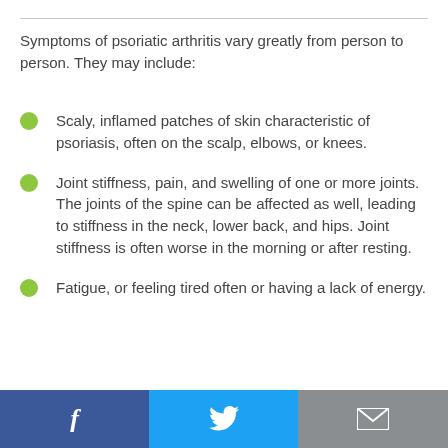Symptoms of psoriatic arthritis vary greatly from person to person. They may include:
Scaly, inflamed patches of skin characteristic of psoriasis, often on the scalp, elbows, or knees.
Joint stiffness, pain, and swelling of one or more joints. The joints of the spine can be affected as well, leading to stiffness in the neck, lower back, and hips. Joint stiffness is often worse in the morning or after resting.
Fatigue, or feeling tired often or having a lack of energy.
Facebook | Twitter | Email